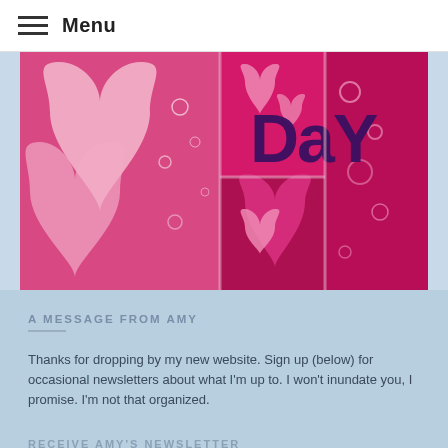Menu
[Figure (photo): Valentine's Day themed image with pink and magenta heart shapes on a glittery background with the text 'DaY' visible in dark purple letters]
Moonlady Holiday Compilation: Valentine's Day ~ 02-14
A MESSAGE FROM AMY
Thanks for dropping by my new website. Sign up (below) for occasional newsletters about what I'm up to. I won't inundate you, I promise. I'm not that organized.
RECEIVE AMY'S NEWSLETTER